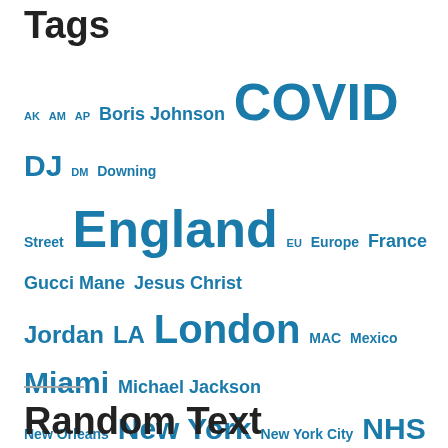Tags
AK AM AP Boris Johnson COVID DJ DM Downing Street England EU Europe France Gucci Mane Jesus Christ Jordan LA London MAC Mexico Miami Michael Jackson New Orleans New York New York City NHS Northern Ireland OG Oh Lord OK Paris PM Premier League Prince Philip Rolls Royce Scotland Sky News Submit Lyrics Thank God TV Ty Dolla uk US VIP VVS Wales
Random Text